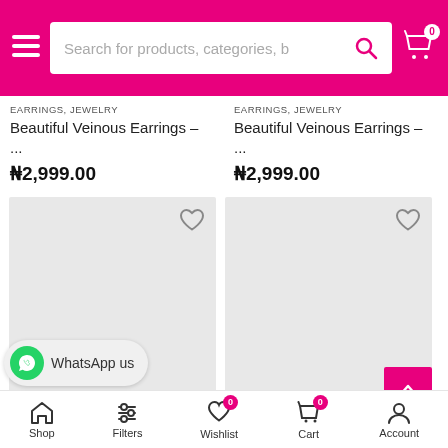[Figure (screenshot): Mobile e-commerce app header with hamburger menu, search bar reading 'Search for products, categories, b', search icon, and cart icon with badge showing 0]
EARRINGS, JEWELRY
Beautiful Veinous Earrings – ...
₦2,999.00
EARRINGS, JEWELRY
Beautiful Veinous Earrings – ...
₦2,999.00
[Figure (photo): Product image placeholder (light grey box) with heart/wishlist icon in top right corner - left product card]
[Figure (photo): Product image placeholder (light grey box) with heart/wishlist icon in top right corner - right product card]
EARRINGS, JEWELRY
Beautiful Veinous Earrings –
EARRINGS, JEWELRY
Beautiful Veinous Earrings –
WhatsApp us
Shop   Filters   Wishlist 0   Cart 0   Account